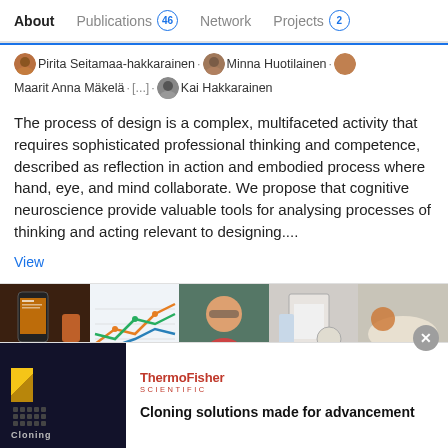About   Publications 46   Network   Projects 2
Pirita Seitamaa-hakkarainen · Minna Huotilainen · Maarit Anna Mäkelä · [...] · Kai Hakkarainen
The process of design is a complex, multifaceted activity that requires sophisticated professional thinking and competence, described as reflection in action and embodied process where hand, eye, and mind collaborate. We propose that cognitive neuroscience provide valuable tools for analysing processes of thinking and acting relevant to designing....
View
[Figure (photo): Strip of 5 thumbnail images: smartphone screen, line chart, person with glasses, lab equipment, table scene with +2 badge]
[Figure (photo): ThermoFisher Scientific advertisement banner showing Cloning solutions made for advancement]